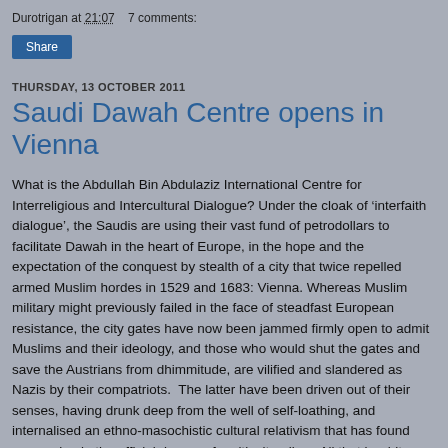Durotrigan at 21:07    7 comments:
Share
THURSDAY, 13 OCTOBER 2011
Saudi Dawah Centre opens in Vienna
What is the Abdullah Bin Abdulaziz International Centre for Interreligious and Intercultural Dialogue? Under the cloak of ‘interfaith dialogue’, the Saudis are using their vast fund of petrodollars to facilitate Dawah in the heart of Europe, in the hope and the expectation of the conquest by stealth of a city that twice repelled armed Muslim hordes in 1529 and 1683: Vienna. Whereas Muslim military might previously failed in the face of steadfast European resistance, the city gates have now been jammed firmly open to admit Muslims and their ideology, and those who would shut the gates and save the Austrians from dhimmitude, are vilified and slandered as Nazis by their compatriots.  The latter have been driven out of their senses, having drunk deep from the well of self-loathing, and internalised an ethno-masochistic cultural relativism that has found expression in the official dogma of multiculturalism. All that is white, male and European is denigrated. Freedoms hard won, are about to be thrown